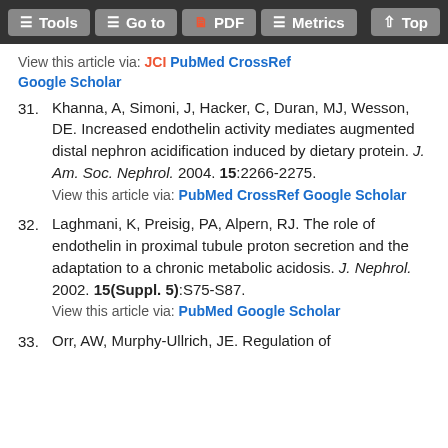Tools | Go to | PDF | Metrics | Top
View this article via: JCI PubMed CrossRef Google Scholar
31. Khanna, A, Simoni, J, Hacker, C, Duran, MJ, Wesson, DE. Increased endothelin activity mediates augmented distal nephron acidification induced by dietary protein. J. Am. Soc. Nephrol. 2004. 15:2266-2275.
View this article via: PubMed CrossRef Google Scholar
32. Laghmani, K, Preisig, PA, Alpern, RJ. The role of endothelin in proximal tubule proton secretion and the adaptation to a chronic metabolic acidosis. J. Nephrol. 2002. 15(Suppl. 5):S75-S87.
View this article via: PubMed Google Scholar
33. Orr, AW, Murphy-Ullrich, JE. Regulation of